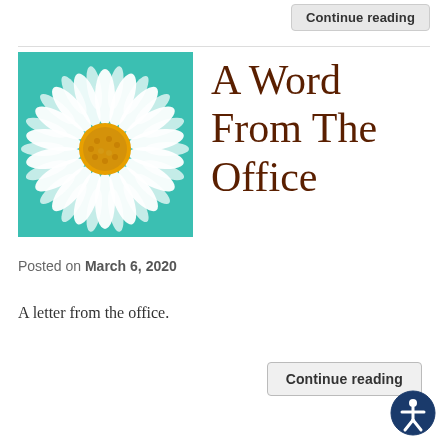Continue reading
[Figure (illustration): A white daisy flower with yellow center on a teal/turquoise background, square format image.]
A Word From The Office
Posted on March 6, 2020
A letter from the office.
Continue reading